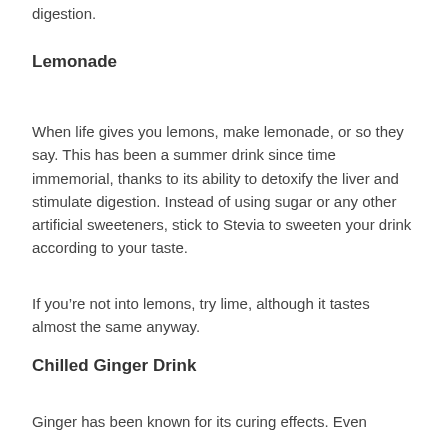digestion.
Lemonade
When life gives you lemons, make lemonade, or so they say. This has been a summer drink since time immemorial, thanks to its ability to detoxify the liver and stimulate digestion. Instead of using sugar or any other artificial sweeteners, stick to Stevia to sweeten your drink according to your taste.
If you're not into lemons, try lime, although it tastes almost the same anyway.
Chilled Ginger Drink
Ginger has been known for its curing effects. Even